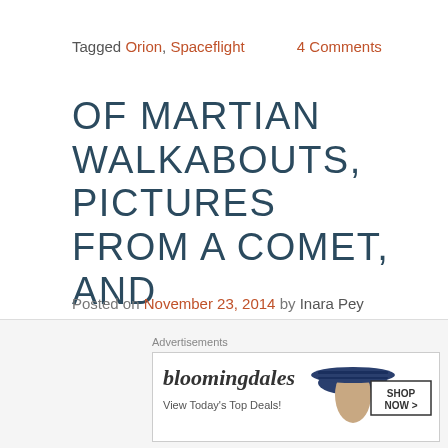Tagged Orion, Spaceflight    4 Comments
OF MARTIAN WALKABOUTS, PICTURES FROM A COMET, AND GETTING READY TO FLY
Posted on November 23, 2014 by Inara Pey
[Figure (photo): A Mars rover on a reddish-orange Martian surface with sky in the background]
In my last report
Advertisements
[Figure (photo): Bloomingdales advertisement: bloomingdales logo, View Today's Top Deals!, woman in hat, SHOP NOW >]